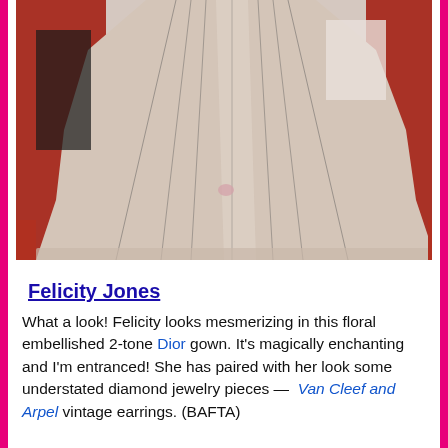[Figure (photo): Photo of lower portion of a woman in a light pink/champagne floral embellished ball gown on a red carpet background]
Felicity Jones
What a look! Felicity looks mesmerizing in this floral embellished 2-tone Dior gown. It’s magically enchanting and I’m entranced! She has paired with her look some understated diamond jewelry pieces —  Van Cleef and Arpel vintage earrings. (BAFTA)